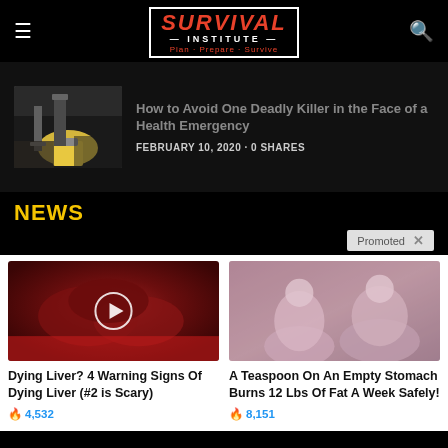SURVIVAL INSTITUTE — Plan · Prepare · Survive
[Figure (photo): Photo of person mopping floor with yellow bucket]
How to Avoid One Deadly Killer in the Face of a Health Emergency
FEBRUARY 10, 2020 · 0 SHARES
NEWS
Promoted ×
[Figure (photo): Dark red beet slices on a red plate with a video play button overlay]
[Figure (photo): Two women in pink outfits sitting on a couch]
Dying Liver? 4 Warning Signs Of Dying Liver (#2 is Scary)
🔥 4,532
A Teaspoon On An Empty Stomach Burns 12 Lbs Of Fat A Week Safely!
🔥 8,151